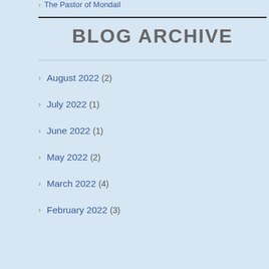The Pastor of Mondail
BLOG ARCHIVE
August 2022 (2)
July 2022 (1)
June 2022 (1)
May 2022 (2)
March 2022 (4)
February 2022 (3)